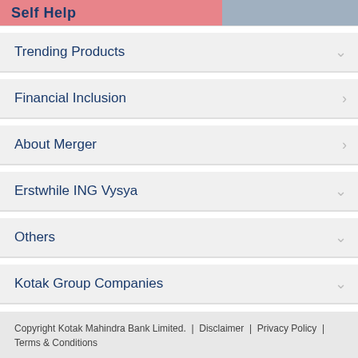Self Help
Trending Products
Financial Inclusion
About Merger
Erstwhile ING Vysya
Others
Kotak Group Companies
Copyright Kotak Mahindra Bank Limited. | Disclaimer | Privacy Policy | Terms & Conditions